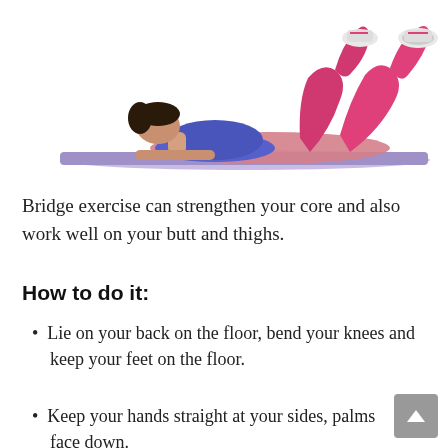[Figure (photo): A woman lying on her back on a purple yoga mat, wearing blue sports top and pink leggings with white sneakers, knees bent upward — demonstrating the starting position for the bridge exercise.]
Bridge exercise can strengthen your core and also work well on your butt and thighs.
How to do it:
Lie on your back on the floor, bend your knees and keep your feet on the floor.
Keep your hands straight at your sides, palms face down.